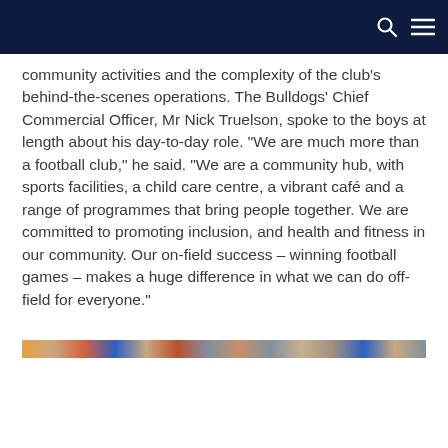community activities and the complexity of the club's behind-the-scenes operations. The Bulldogs' Chief Commercial Officer, Mr Nick Truelson, spoke to the boys at length about his day-to-day role. “We are much more than a football club,” he said. “We are a community hub, with sports facilities, a child care centre, a vibrant café and a range of programmes that bring people together. We are committed to promoting inclusion, and health and fitness in our community. Our on-field success – winning football games – makes a huge difference in what we can do off-field for everyone.”
[Figure (photo): A horizontal strip showing a partial photo or banner image related to the Bulldogs football club.]